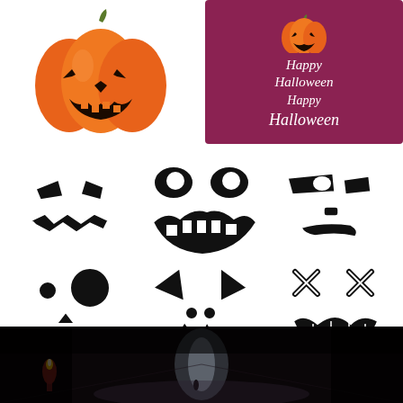[Figure (illustration): Jack-o-lantern pumpkin illustration on white background, top left]
[Figure (illustration): Happy Halloween greeting card with dark pink/maroon background, small pumpkin at top, text reading Happy Halloween in white cursive font]
[Figure (illustration): Six jack-o-lantern face designs/stickers on white background arranged in 2 rows of 3: angry face, smiling wide face, smirking face, two-circle eyes face, demon cat face, X-eyes stitched mouth face]
[Figure (photo): Dark atmospheric Halloween photo showing a dimly lit corridor or path with a small figure in the distance, candle/flame on left side, white light in center distance]